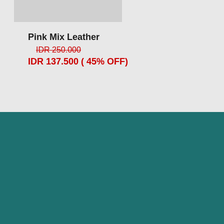[Figure (photo): Gray placeholder image area at top]
Pink Mix Leather
IDR 250.000 (strikethrough original price)
IDR 137.500 ( 45% OFF)
[Figure (logo): WOODKA brand logo - shield/badge shape with WO D KA text and circular emblem, white on teal background]
@woodka_
WOODKA